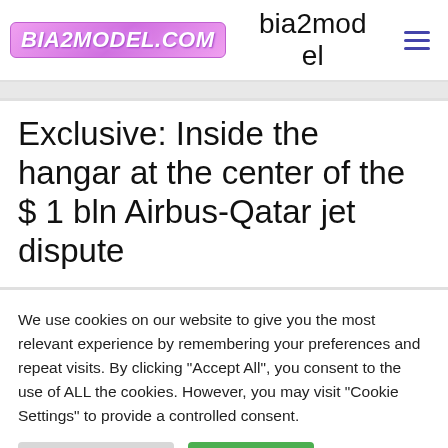BIA2MODEL.COM   bia2model   ≡
Exclusive: Inside the hangar at the center of the $ 1 bln Airbus-Qatar jet dispute
We use cookies on our website to give you the most relevant experience by remembering your preferences and repeat visits. By clicking "Accept All", you consent to the use of ALL the cookies. However, you may visit "Cookie Settings" to provide a controlled consent.
Cookie Settings   Accept All